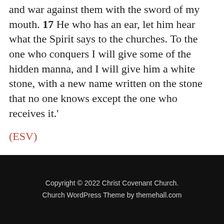and war against them with the sword of my mouth. 17 He who has an ear, let him hear what the Spirit says to the churches. To the one who conquers I will give some of the hidden manna, and I will give him a white stone, with a new name written on the stone that no one knows except the one who receives it.'
(ESV)
Powered by Sermon Browser
Copyright © 2022 Christ Covenant Church. Church WordPress Theme by themehall.com